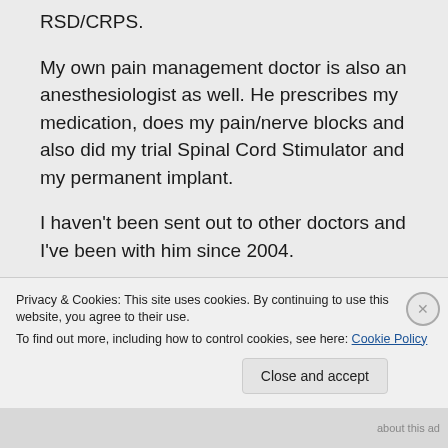RSD/CRPS.
My own pain management doctor is also an anesthesiologist as well. He prescribes my medication, does my pain/nerve blocks and also did my trial Spinal Cord Stimulator and my permanent implant.
I haven't been sent out to other doctors and I've been with him since 2004.
Warmest wishes.
Privacy & Cookies: This site uses cookies. By continuing to use this website, you agree to their use.
To find out more, including how to control cookies, see here: Cookie Policy
Close and accept